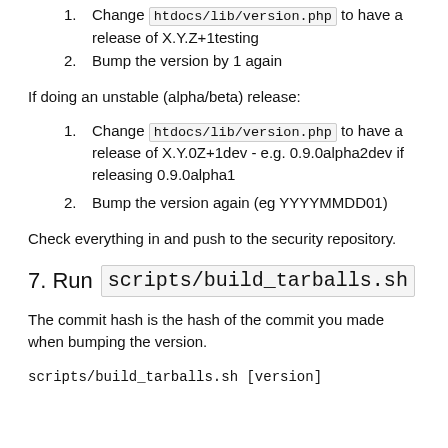1. Change htdocs/lib/version.php to have a release of X.Y.Z+1testing
2. Bump the version by 1 again
If doing an unstable (alpha/beta) release:
1. Change htdocs/lib/version.php to have a release of X.Y.0Z+1dev - e.g. 0.9.0alpha2dev if releasing 0.9.0alpha1
2. Bump the version again (eg YYYYMMDD01)
Check everything in and push to the security repository.
7. Run scripts/build_tarballs.sh
The commit hash is the hash of the commit you made when bumping the version.
scripts/build_tarballs.sh [version]